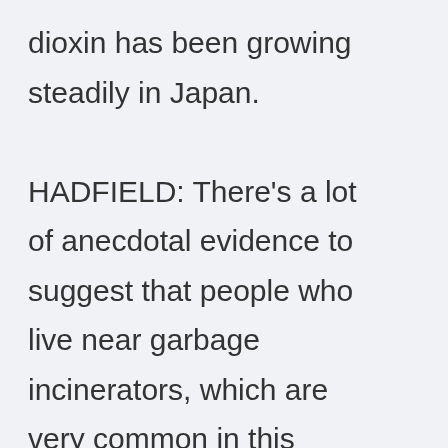dioxin has been growing steadily in Japan. HADFIELD: There's a lot of anecdotal evidence to suggest that people who live near garbage incinerators, which are very common in this